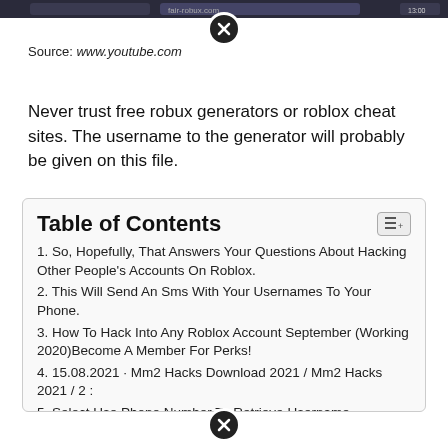[Figure (screenshot): Dark browser top bar / address bar strip]
Source: www.youtube.com
Never trust free robux generators or roblox cheat sites. The username to the generator will probably be given on this file.
Table of Contents
1. So, Hopefully, That Answers Your Questions About Hacking Other People's Accounts On Roblox.
2. This Will Send An Sms With Your Usernames To Your Phone.
3. How To Hack Into Any Roblox Account September (Working 2020)Become A Member For Perks!
4. 15.08.2021 · Mm2 Hacks Download 2021 / Mm2 Hacks 2021 / 2 :
5. Select Use Phone Number To Retrieve Username.
6. Related posts: